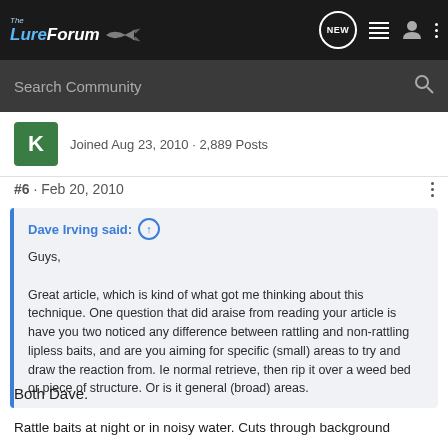The LureForum
Search Community
Joined Aug 23, 2010 · 2,889 Posts
#6 · Feb 20, 2010
Dave Irving said: ↑

Guys,

Great article, which is kind of what got me thinking about this technique. One question that did araise from reading your article is have you two noticed any difference between rattling and non-rattling lipless baits, and are you aiming for specific (small) areas to try and draw the reaction from. Ie normal retrieve, then rip it over a weed bed or piece of structure. Or is it general (broad) areas.
Both Dave.
Rattle baits at night or in noisy water. Cuts through background